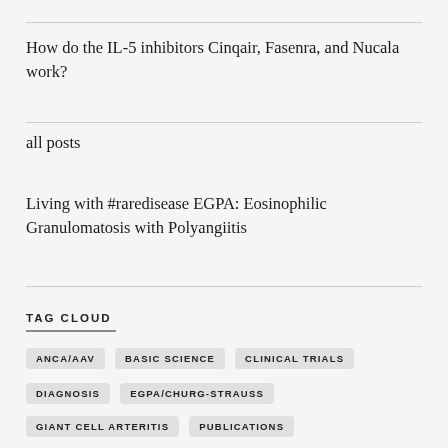How do the IL-5 inhibitors Cinqair, Fasenra, and Nucala work?
all posts
Living with #raredisease EGPA: Eosinophilic Granulomatosis with Polyangiitis
TAG CLOUD
ANCA/AAV
BASIC SCIENCE
CLINICAL TRIALS
DIAGNOSIS
EGPA/CHURG-STRAUSS
GIANT CELL ARTERITIS
PUBLICATIONS